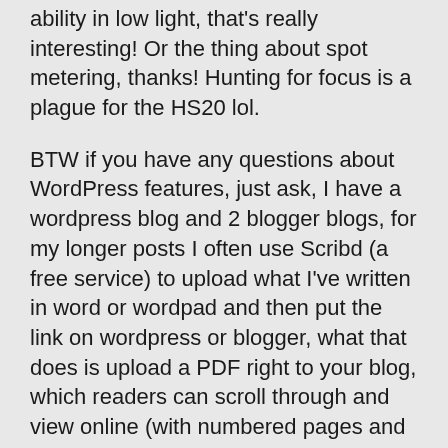ability in low light, that's really interesting! Or the thing about spot metering, thanks! Hunting for focus is a plague for the HS20 lol.
BTW if you have any questions about WordPress features, just ask, I have a wordpress blog and 2 blogger blogs, for my longer posts I often use Scribd (a free service) to upload what I've written in word or wordpad and then put the link on wordpress or blogger, what that does is upload a PDF right to your blog, which readers can scroll through and view online (with numbered pages and all, and they dont have to download it) and since it also allows you to embed images in the documents and people can search by page or table of contents or index, it's very useful and convenient! I have some blog entries on here that are over 100 pages long but very easily readable since they are embedded PDFs thanks to